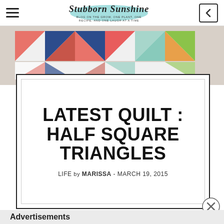Stubborn Sunshine — navigation bar with hamburger menu and back button
[Figure (photo): Colorful half square triangle quilt blocks laid out in a row on a light surface, showing various fabric patterns in coral, navy, mint, orange, and green colors]
LATEST QUILT : HALF SQUARE TRIANGLES
LIFE by MARISSA - MARCH 19, 2015
Advertisements